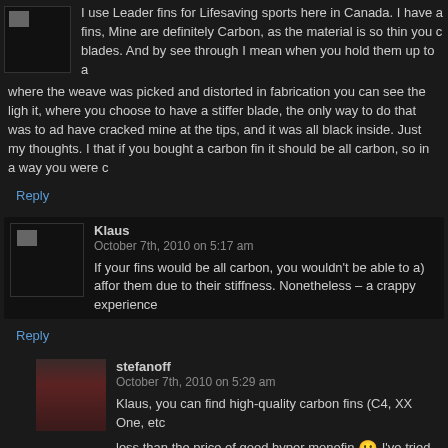I use Leader fins for Lifesaving sports here in Canada. I have a fins, Mine are definitely Carbon, as the material is so thin you c blades. And by see through I mean when you hold them up to a where the weave was picked and distorted in fabrication you can see the ligh it, where you choose to have a stiffer blade, the only way to do that was to ad have cracked mine at the tips, and it was all black inside. Just my thoughts. I that if you bought a carbon fin it should be all carbon, so in a way you were c
Reply
Klaus
October 7th, 2010 on 5:17 am
If your fins would be all carbon, you wouldn't be able to a) affor them due to their stiffness. Nonetheless – a crappy experience
Reply
stefanoff
October 7th, 2010 on 5:29 am
Klaus, you can find high-quality carbon fins (C4, XX One, etc less than the price of good hyper monofin I've tried sever and in fact they were quite soft, which is arguably better… The point in my post is not that the fins are crappy (they're good, actually), Leaderfins sells them with the label 'Carbon' instead of 'Fiberglass'. It's obv a catch with low price – but you don't have to break your fins to find it
Lubo
Reply